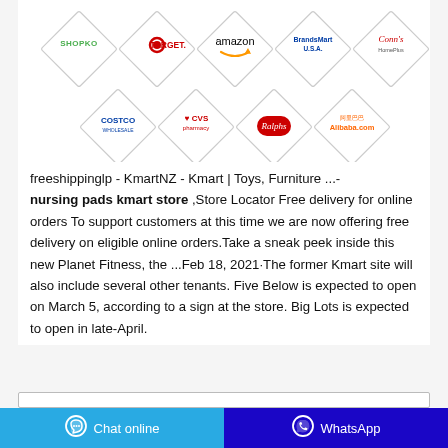[Figure (infographic): Grid of retail store logos arranged in diamond/rhombus shapes: Shopko, Target, Amazon, BrandsMart USA, Conn's HomePlus (top row); Costco, CVS pharmacy, Ralphs, Alibaba.com (bottom row)]
freeshippinglp - KmartNZ - Kmart | Toys, Furniture ...- nursing pads kmart store ,Store Locator Free delivery for online orders To support customers at this time we are now offering free delivery on eligible online orders.Take a sneak peek inside this new Planet Fitness, the ...Feb 18, 2021·The former Kmart site will also include several other tenants. Five Below is expected to open on March 5, according to a sign at the store. Big Lots is expected to open in late-April.
[Figure (screenshot): Chat online and WhatsApp buttons at the bottom of the page]